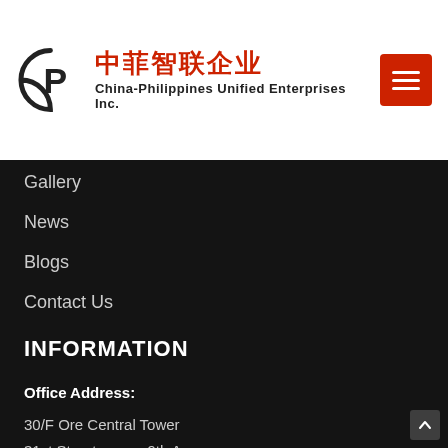[Figure (logo): China-Philippines Unified Enterprises Inc. logo with circular C/P monogram, Chinese characters 中菲智联企业 in red, and English name in bold.]
Gallery
News
Blogs
Contact Us
INFORMATION
Office Address:
30/F Ore Central Tower
31st Street corner 9th Avenue
Bonifacio Global City
Taguig City 1634
Philippines